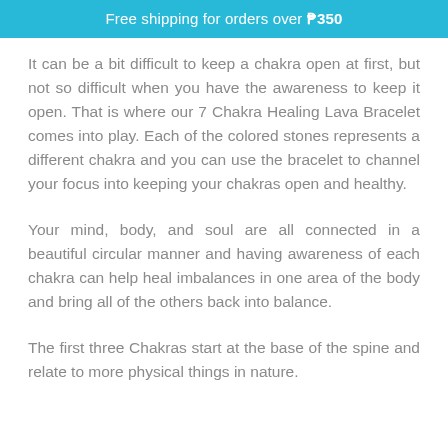Free shipping for orders over ₱350
It can be a bit difficult to keep a chakra open at first, but not so difficult when you have the awareness to keep it open. That is where our 7 Chakra Healing Lava Bracelet comes into play. Each of the colored stones represents a different chakra and you can use the bracelet to channel your focus into keeping your chakras open and healthy.
Your mind, body, and soul are all connected in a beautiful circular manner and having awareness of each chakra can help heal imbalances in one area of the body and bring all of the others back into balance.
The first three Chakras start at the base of the spine and relate to more physical things in nature.